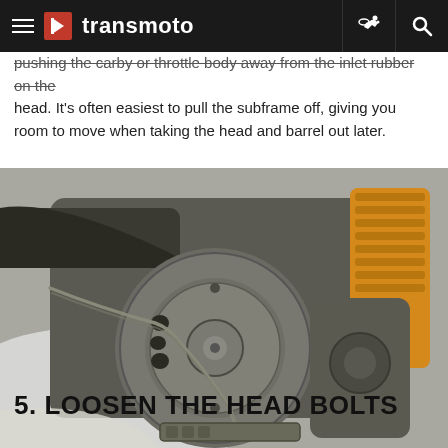transmoto
pushing the carby or throttle body away from the inlet rubber on the head. It's often easiest to pull the subframe off, giving you room to move when taking the head and barrel out later.
[Figure (photo): Close-up photo of a motorcycle engine component showing a circular flywheel/magneto assembly with wire rope/cable, metal brackets, and mechanical parts. Orange spring visible in background.]
5. LOOSEN THE HEAD BOLTS